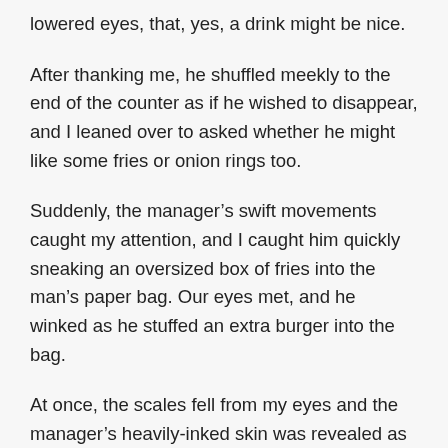lowered eyes, that, yes, a drink might be nice.
After thanking me, he shuffled meekly to the end of the counter as if he wished to disappear, and I leaned over to asked whether he might like some fries or onion rings too.
Suddenly, the manager’s swift movements caught my attention, and I caught him quickly sneaking an oversized box of fries into the man’s paper bag. Our eyes met, and he winked as he stuffed an extra burger into the bag.
At once, the scales fell from my eyes and the manager’s heavily-inked skin was revealed as the canvassed dwelling tent of God. Joy trickled from the corner of his winking eye, and his face was awash in white light.